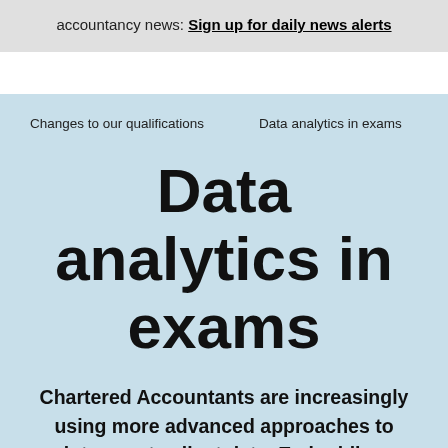accountancy news: Sign up for daily news alerts
Changes to our qualifications
Data analytics in exams
Data analytics in exams
Chartered Accountants are increasingly using more advanced approaches to interrogate client data. Embedding